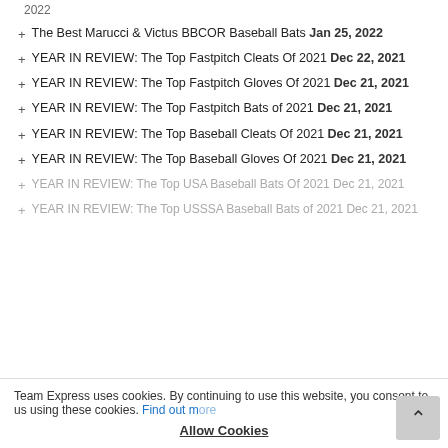2022 (date fragment at top)
The Best Marucci & Victus BBCOR Baseball Bats Jan 25, 2022
YEAR IN REVIEW: The Top Fastpitch Cleats Of 2021 Dec 22, 2021
YEAR IN REVIEW: The Top Fastpitch Gloves Of 2021 Dec 21, 2021
YEAR IN REVIEW: The Top Fastpitch Bats of 2021 Dec 21, 2021
YEAR IN REVIEW: The Top Baseball Cleats Of 2021 Dec 21, 2021
YEAR IN REVIEW: The Top Baseball Gloves Of 2021 Dec 21, 2021
YEAR IN REVIEW: The Top USA Baseball Bats Of 2021 Dec 21, 2021
YEAR IN REVIEW: The Top USSSA Baseball Bats of 2021 Dec 21, 2021
Team Express uses cookies. By continuing to use this website, you consent to us using these cookies. Find out more Allow Cookies